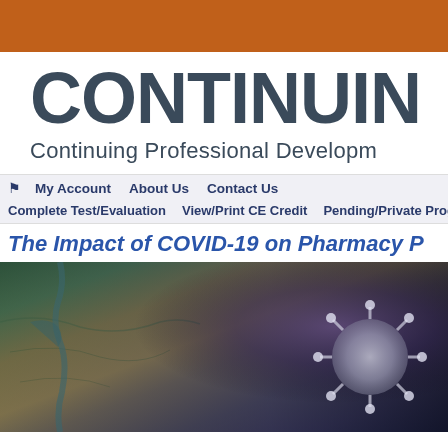CONTINUIN
Continuing Professional Developm
My Account  About Us  Contact Us  Complete Test/Evaluation  View/Print CE Credit  Pending/Private Programs
The Impact of COVID-19 on Pharmacy P
[Figure (photo): Satellite map view of the Middle East and surrounding region, with a coronavirus particle image overlaid on the right side, dark overlay applied]